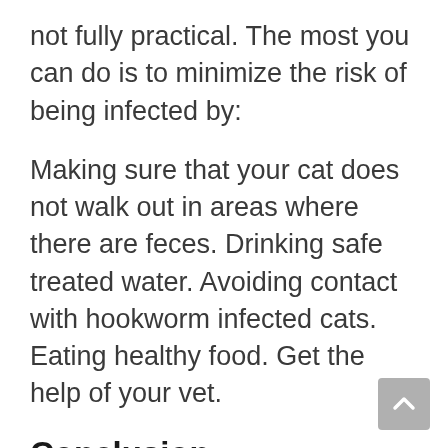not fully practical. The most you can do is to minimize the risk of being infected by:
Making sure that your cat does not walk out in areas where there are feces. Drinking safe treated water. Avoiding contact with hookworm infected cats. Eating healthy food. Get the help of your vet.
Conclusion
Hookworms are very destructive creatures. They can mess up the